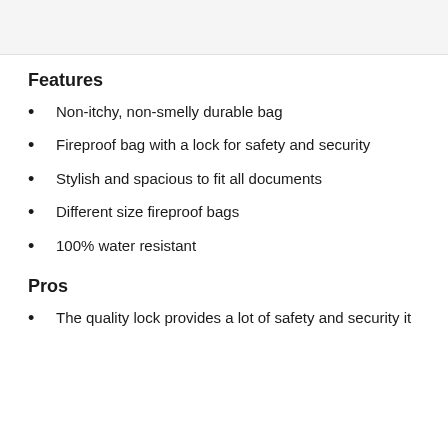Features
Non-itchy, non-smelly durable bag
Fireproof bag with a lock for safety and security
Stylish and spacious to fit all documents
Different size fireproof bags
100% water resistant
Pros
The quality lock provides a lot of safety and security it…